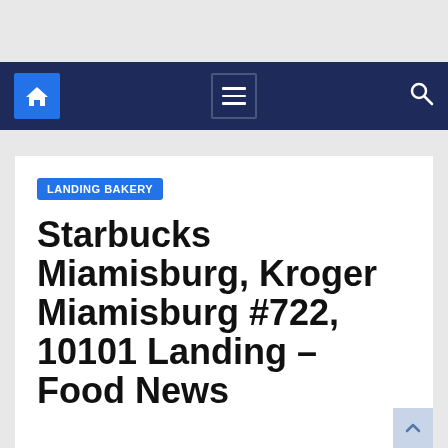Navigation bar with home icon, hamburger menu, and search icon
LANDING BAKERY
Starbucks Miamisburg, Kroger Miamisburg #722, 10101 Landing – Food News